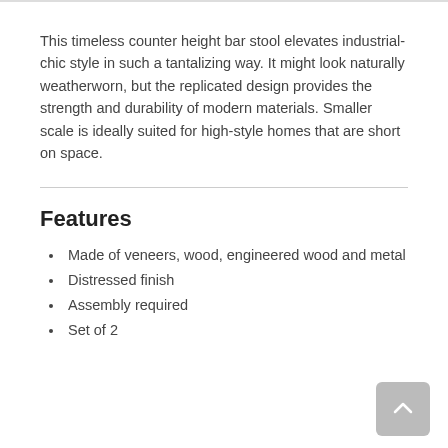This timeless counter height bar stool elevates industrial-chic style in such a tantalizing way. It might look naturally weatherworn, but the replicated design provides the strength and durability of modern materials. Smaller scale is ideally suited for high-style homes that are short on space.
Features
Made of veneers, wood, engineered wood and metal
Distressed finish
Assembly required
Set of 2